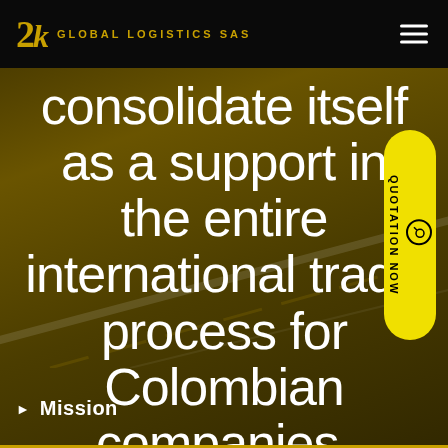2K GLOBAL LOGISTICS SAS
consolidate itself as a support in the entire international trade process for Colombian companies.
[Figure (other): Yellow rounded pill-shaped button with vertical text reading QUOTATION NOW and a circular icon at the bottom]
Mission